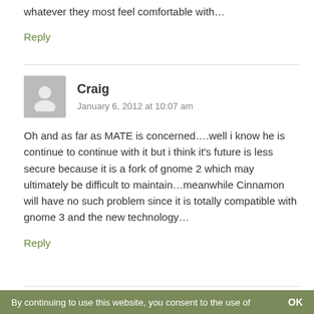whatever they most feel comfortable with…
Reply
Craig
January 6, 2012 at 10:07 am
Oh and as far as MATE is concerned….well i know he is continue to continue with it but i think it's future is less secure because it is a fork of gnome 2 which may ultimately be difficult to maintain…meanwhile Cinnamon will have no such problem since it is totally compatible with gnome 3 and the new technology…
Reply
By continuing to use this website, you consent to the use of    OK